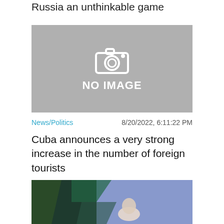Russia an unthinkable game
[Figure (photo): No image placeholder with camera icon and NO IMAGE text]
News/Politics    8/20/2022, 6:11:22 PM
Cuba announces a very strong increase in the number of foreign tourists
[Figure (photo): Photo of a person speaking at a podium against a purple/blue geometric backdrop]